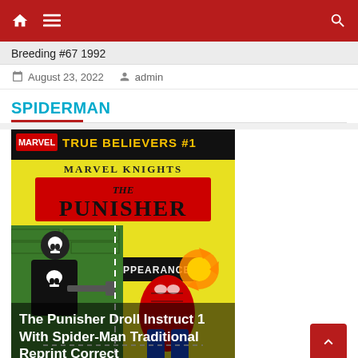Navigation bar with home, menu, and search icons
Breeding #67 1992
August 23, 2022   admin
SPIDERMAN
[Figure (illustration): Marvel True Believers #1 Marvel Knights The Punisher The First Appearance comic book cover, showing the Punisher with a gun and Spider-Man]
The Punisher Droll Instruct 1 With Spider-Man Traditional Reprint Correct